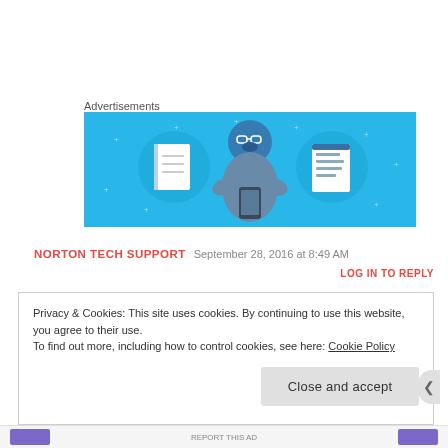Advertisements
[Figure (illustration): Advertisement banner with light blue background showing a cartoon person holding a phone, flanked by two circular icons: one showing a notebook and one showing a document with lines.]
NORTON TECH SUPPORT   September 28, 2016 at 8:49 AM
LOG IN TO REPLY
Privacy & Cookies: This site uses cookies. By continuing to use this website, you agree to their use.
To find out more, including how to control cookies, see here: Cookie Policy
Close and accept